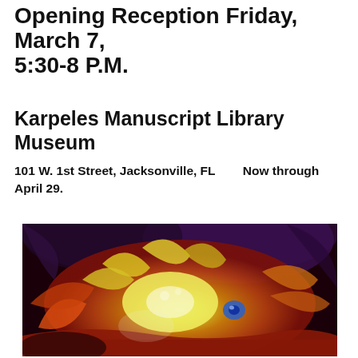Opening Reception Friday, March 7, 5:30-8 P.M.
Karpeles Manuscript Library Museum
101 W. 1st Street, Jacksonville, FL      Now through April 29.
[Figure (photo): Abstract painting with warm yellow, orange, red and dark purple tones. Swirling brushstrokes suggest floral or organic forms with a bright yellow center and dark sky-like upper portion.]